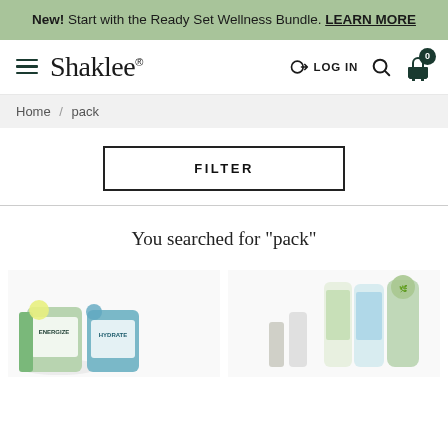New! Start with the Ready Set Wellness Bundle. LEARN MORE
Shaklee — LOG IN — Search — Cart 0
Home / pack
FILTER
You searched for "pack"
[Figure (photo): Product image showing Shaklee supplement containers including Energize and Hydrate products with green and blue branding]
[Figure (photo): Product image showing Shaklee personal care and cleaning product bottles including clear bottles with labels]